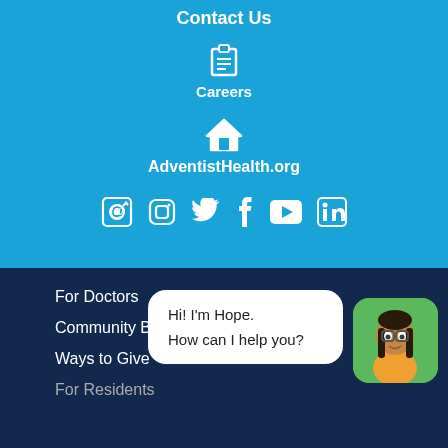Contact Us
Careers
AdventistHealth.org
[Figure (illustration): Social media icons: email, Instagram, Twitter, Facebook, YouTube, LinkedIn]
For Doctors
Community Benefit
Ways to Give
For Residents
[Figure (illustration): Chat bot widget showing avatar of a woman named Hope with speech bubble saying 'Hi! I'm Hope. How can I help you?']